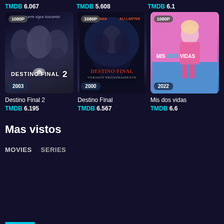TMDB 6.067  |  TMDB 5.608  |  TMDB 6.1
[Figure (illustration): Movie poster for Destino Final 2 (2003), dark blue-grey horror poster with faces, 1080P badge, year 2003]
[Figure (illustration): Movie poster for Destino Final (2000), dark horror poster showing figures, 1080P badge, year 2000]
[Figure (illustration): Movie poster for Mis dos vidas (2022), pink colorful poster with woman in pink suit, 1080P badge, year 2022]
Destino Final 2
TMDB 6.195
Destino Final
TMDB 6.567
Mis dos vidas
TMDB 6.6
Mas vistos
MOVIES   SERIES